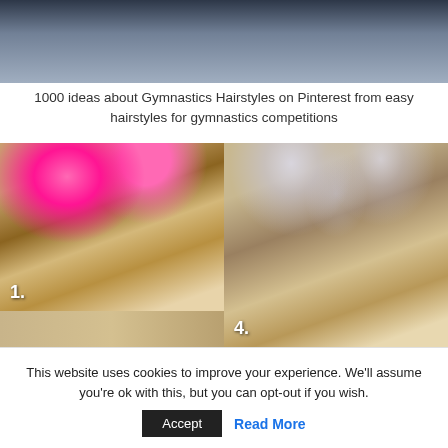[Figure (photo): Top portion of a photo showing a person wearing a dark hoodie/jacket, cropped to show neck and collar area]
1000 ideas about Gymnastics Hairstyles on Pinterest from easy hairstyles for gymnastics competitions
[Figure (photo): Collage of gymnastics hairstyle photos. Left: top-down view of a girl's elaborate braided hairstyle with a pink bow, labeled '1.'. Right: top-down view of a girl's hairstyle with white ribbon bows and colorful elastics, labeled '4.'. Bottom left shows partial third photo.]
This website uses cookies to improve your experience. We'll assume you're ok with this, but you can opt-out if you wish.
Accept   Read More